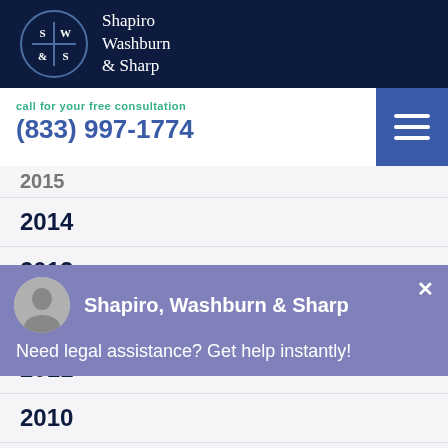[Figure (logo): Shapiro Washburn & Sharp law firm logo — circular emblem with S W & S in grid, dark navy background, beside firm name text in white serif font]
call for your free consultation
(833) 997-1774
2015 (partial, top clipped)
2014
2013
2012
2011
2010
2009
2008
[Figure (screenshot): Chat/notification popup overlay with purple background showing firm avatar photo, firm name 'Shapiro, Washburn & Sharp', message 'Need legal assistance? Get help instantly!' and close X button]
2007
FREE CASE EVALUATION